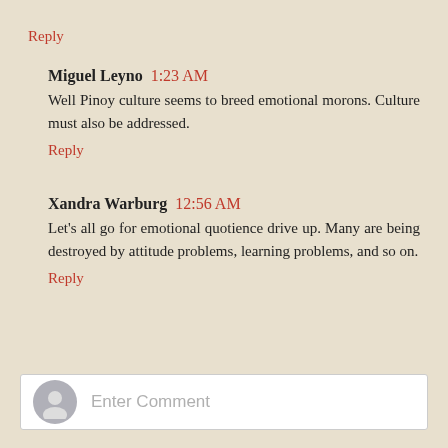Reply
Miguel Leyno  1:23 AM
Well Pinoy culture seems to breed emotional morons. Culture must also be addressed.
Reply
Xandra Warburg  12:56 AM
Let's all go for emotional quotience drive up. Many are being destroyed by attitude problems, learning problems, and so on.
Reply
Enter Comment